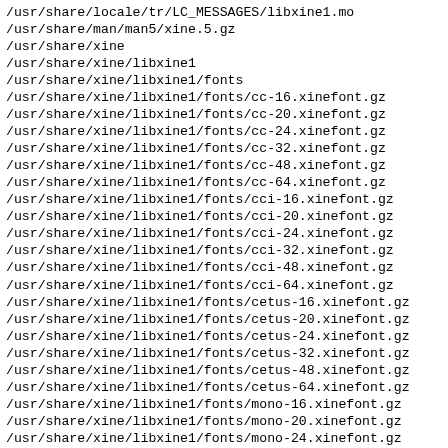/usr/share/locale/tr/LC_MESSAGES/libxine1.mo
/usr/share/man/man5/xine.5.gz
/usr/share/xine
/usr/share/xine/libxine1
/usr/share/xine/libxine1/fonts
/usr/share/xine/libxine1/fonts/cc-16.xinefont.gz
/usr/share/xine/libxine1/fonts/cc-20.xinefont.gz
/usr/share/xine/libxine1/fonts/cc-24.xinefont.gz
/usr/share/xine/libxine1/fonts/cc-32.xinefont.gz
/usr/share/xine/libxine1/fonts/cc-48.xinefont.gz
/usr/share/xine/libxine1/fonts/cc-64.xinefont.gz
/usr/share/xine/libxine1/fonts/cci-16.xinefont.gz
/usr/share/xine/libxine1/fonts/cci-20.xinefont.gz
/usr/share/xine/libxine1/fonts/cci-24.xinefont.gz
/usr/share/xine/libxine1/fonts/cci-32.xinefont.gz
/usr/share/xine/libxine1/fonts/cci-48.xinefont.gz
/usr/share/xine/libxine1/fonts/cci-64.xinefont.gz
/usr/share/xine/libxine1/fonts/cetus-16.xinefont.gz
/usr/share/xine/libxine1/fonts/cetus-20.xinefont.gz
/usr/share/xine/libxine1/fonts/cetus-24.xinefont.gz
/usr/share/xine/libxine1/fonts/cetus-32.xinefont.gz
/usr/share/xine/libxine1/fonts/cetus-48.xinefont.gz
/usr/share/xine/libxine1/fonts/cetus-64.xinefont.gz
/usr/share/xine/libxine1/fonts/mono-16.xinefont.gz
/usr/share/xine/libxine1/fonts/mono-20.xinefont.gz
/usr/share/xine/libxine1/fonts/mono-24.xinefont.gz
/usr/share/xine/libxine1/fonts/mono-32.xinefont.gz
/usr/share/xine/libxine1/fonts/mono-48.xinefont.gz
/usr/share/xine/libxine1/fonts/mono-64.xinefont.gz
/usr/share/xine/libxine1/fonts/sans-16.xinefont.gz